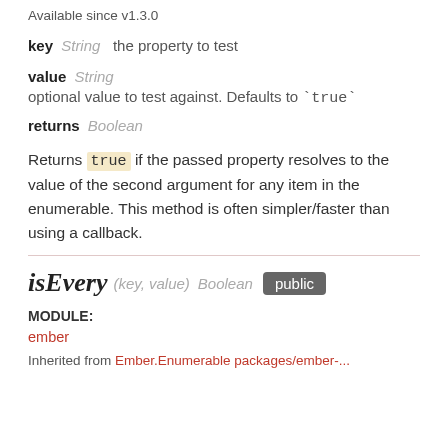Available since v1.3.0
key  String  the property to test
value  String
optional value to test against. Defaults to `true`
returns  Boolean
Returns true if the passed property resolves to the value of the second argument for any item in the enumerable. This method is often simpler/faster than using a callback.
isEvery (key, value) Boolean  public
MODULE: ember
Inherited from Ember.Enumerable packages/ember-...